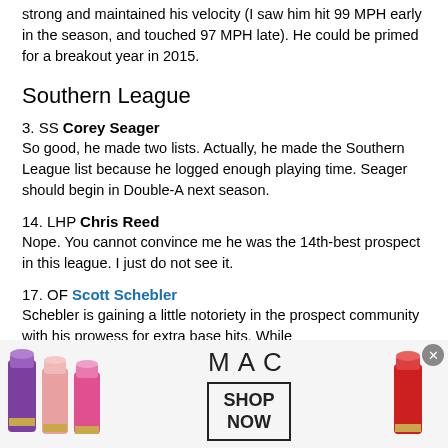strong and maintained his velocity (I saw him hit 99 MPH early in the season, and touched 97 MPH late). He could be primed for a breakout year in 2015.
Southern League
3. SS Corey Seager
So good, he made two lists. Actually, he made the Southern League list because he logged enough playing time. Seager should begin in Double-A next season.
14. LHP Chris Reed
Nope. You cannot convince me he was the 14th-best prospect in this league. I just do not see it.
17. OF Scott Schebler
Schebler is gaining a little notoriety in the prospect community with his prowess for extra base hits. While
[Figure (photo): MAC Cosmetics advertisement banner showing lipsticks in purple, pink, and red colors with the MAC logo and a SHOP NOW button in a black border box.]